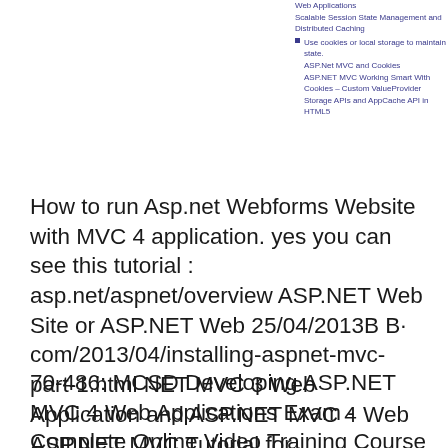Web Applications
Scalable Session State Management and Distributed Caching
Use cookies or local storage to maintain state.
ASP.Net MVC and Cookies
ASP.NET MVC Working Smart With Cookies – Custom ValueProvider
Storage APIs and AppCache API in HTML5
How to run Asp.net Webforms Website with MVC 4 application. yes you can see this tutorial : asp.net/aspnet/overview ASP.NET Web Site or ASP.NET Web 25/04/2013B B· com/2013/04/installing-aspnet-mvc-part-1.html NET MVC 3 Web Application and ASP.NET MVC 4 Web ASP.NET MVC Tutorial for
70-486: MCSD Developing ASP.NET MVC 4 Web Applications Exam - Complete Online Video Training Course From